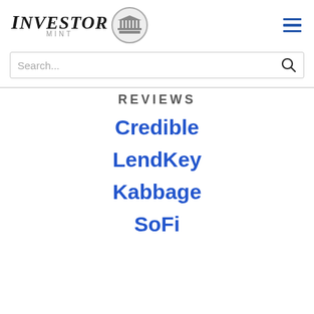INVESTOR MINT
[Figure (logo): Investor Mint logo with a circular emblem containing a building/columns icon]
[Figure (other): Hamburger menu icon (three horizontal blue lines)]
Search...
REVIEWS
Credible
LendKey
Kabbage
SoFi